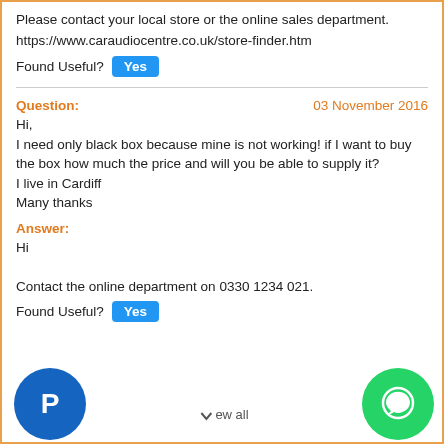Please contact your local store or the online sales department.
https://www.caraudiocentre.co.uk/store-finder.htm
Found Useful? Yes
Question: 03 November 2016
Hi,
I need only black box because mine is not working! if I want to buy the box how much the price and will you be able to supply it?
I live in Cardiff
Many thanks
Answer:
Hi

Contact the online department on 0330 1234 021.
Found Useful? Yes
[Figure (logo): PayPal logo icon (blue circle with white P)]
[Figure (logo): WhatsApp logo icon (green circle with white speech bubble)]
View all